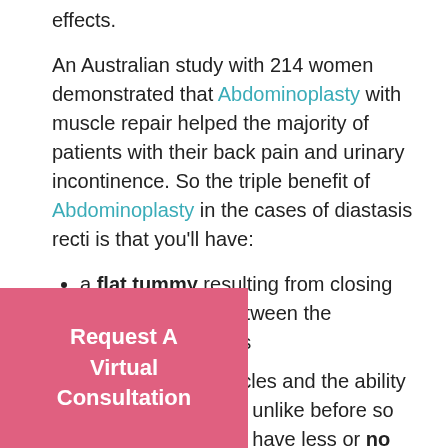effects.
An Australian study with 214 women demonstrated that Abdominoplasty with muscle repair helped the majority of patients with their back pain and urinary incontinence. So the triple benefit of Abdominoplasty in the cases of diastasis recti is that you'll have:
a flat tummy resulting from closing the bulging gap between the abdominal muscles
repaired core muscles and the ability to strengthen them unlike before so that you could also have less or no more back pain
better urinary control because of the abdominal pelvic floor muscles
help you look and feel better.
in time for swimsuit season if
[Figure (other): Pink call-to-action box with text 'Request A Virtual Consultation']